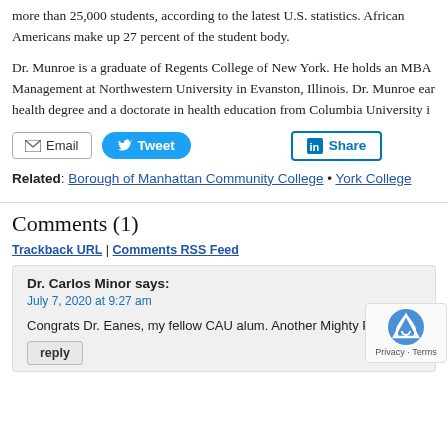more than 25,000 students, according to the latest U.S. statistics. African Americans make up 27 percent of the student body.
Dr. Munroe is a graduate of Regents College of New York. He holds an MBA Management at Northwestern University in Evanston, Illinois. Dr. Munroe earned a health degree and a doctorate in health education from Columbia University in
[Figure (other): Social share buttons: Email, Tweet, Share (LinkedIn)]
Related: Borough of Manhattan Community College • York College
Comments (1)
Trackback URL | Comments RSS Feed
Dr. Carlos Minor says: July 7, 2020 at 9:27 am Congrats Dr. Eanes, my fellow CAU alum. Another Mighty Pant
reply